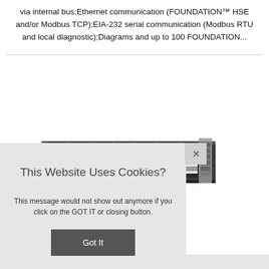via internal bus;Ethernet communication (FOUNDATION™ HSE and/or Modbus TCP);EIA-232 serial communication (Modbus RTU and local diagnostic);Diagrams and up to 100 FOUNDATION...
[Figure (photo): Industrial fieldbus/network hardware module with multiple card slots arranged in a row, dark-colored chassis with labeled cards visible]
[Figure (screenshot): Cookie consent overlay popup reading 'This Website Uses Cookies?' with body text and a 'Got It' button, and a close (×) button in the upper right corner]